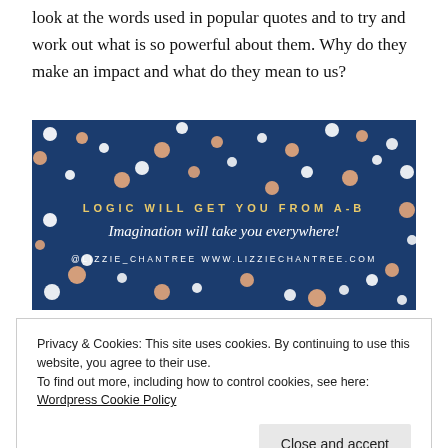look at the words used in popular quotes and to try and work out what is so powerful about them. Why do they make an impact and what do they mean to us?
[Figure (illustration): Dark navy blue background with scattered white and orange dots/circles. Text overlay reads: 'LOGIC WILL GET YOU FROM A-B' in yellow spaced lettering, below that 'Imagination will take you everywhere!' in white italic font, and at the bottom '@LIZZIE_CHANTREE   WWW.LIZZIECHANTREE.COM' in small white spaced lettering.]
Privacy & Cookies: This site uses cookies. By continuing to use this website, you agree to their use. To find out more, including how to control cookies, see here: Wordpress Cookie Policy